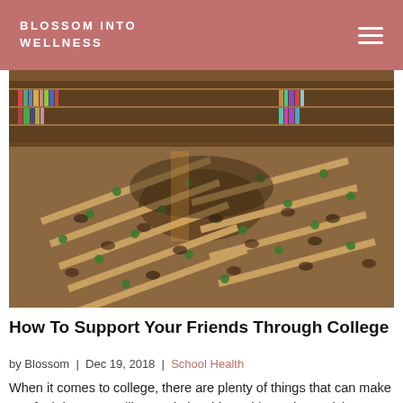BLOSSOM INTO WELLNESS
[Figure (photo): Aerial view of a large ornate library reading room filled with students studying at long wooden desks with green lamps, bookshelves visible in the background]
How To Support Your Friends Through College
by Blossom | Dec 19, 2018 | School Health
When it comes to college, there are plenty of things that can make you feel down. Deadlines, relationship problems, homesickness – you name it, you've